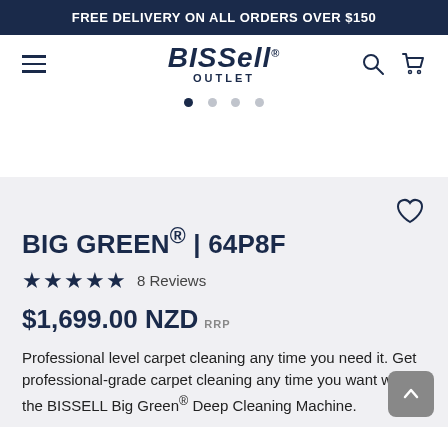FREE DELIVERY ON ALL ORDERS OVER $150
[Figure (logo): BISSELL OUTLET logo with hamburger menu, search icon, and cart icon]
BIG GREEN® | 64P8F
★★★★★  8 Reviews
$1,699.00 NZD RRP
Professional level carpet cleaning any time you need it. Get professional-grade carpet cleaning any time you want with the BISSELL Big Green® Deep Cleaning Machine.